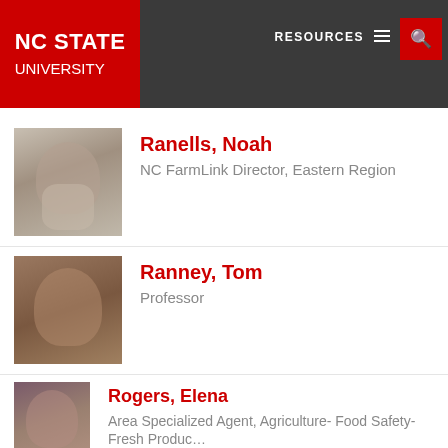NC STATE UNIVERSITY | RESOURCES
[Figure (photo): Photo of Ranells, Noah - older man with glasses and white beard]
Ranells, Noah
NC FarmLink Director, Eastern Region
[Figure (photo): Photo of Ranney, Tom - man with reddish hair outdoors]
Ranney, Tom
Professor
[Figure (photo): Photo of Rogers, Elena - woman with dark hair smiling]
Rogers, Elena
Area Specialized Agent, Agriculture- Food Safety- Fresh Produc…
[Figure (photo): Photo of Schultheis, Jonathan - bald man with glasses]
Schultheis, Jonathan
Specialist, Sweetpotato / Curcurbits / Sweet Corn
[Figure (photo): Partial photo of another person, cropped at bottom of page]